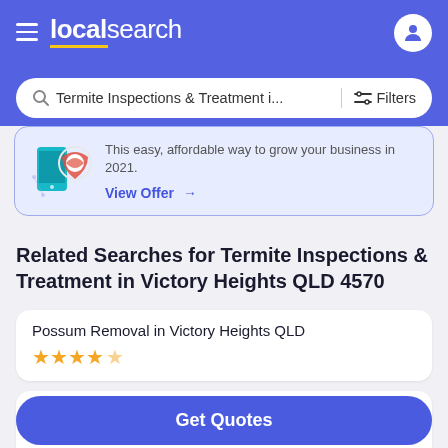localsearch
Termite Inspections & Treatment i... Filters
This easy, affordable way to grow your business in 2021. View Offer →
Related Searches for Termite Inspections & Treatment in Victory Heights QLD 4570
Possum Removal in Victory Heights QLD ★★★★★
Weed Control in Victory Heights QLD ★★★★★ 5/5
Get Quotes